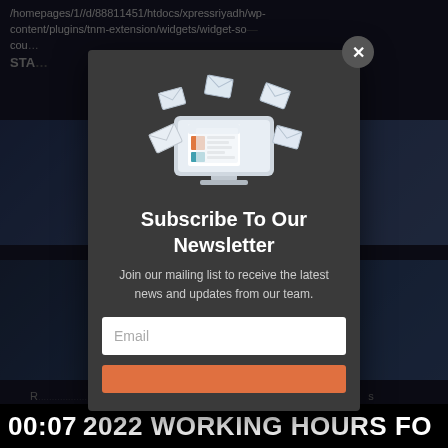/homepages/1//d/88811451/htdocs/xpressriyadh/wp-content/plugins/tnm-extension/widgets/widget-social-count… STA…
[Figure (screenshot): Background web page with dark theme showing blue image bars and partial text]
[Figure (illustration): Newsletter subscription modal popup illustration: computer monitor with newspaper/mail icon and envelopes flying around]
Subscribe To Our Newsletter
Join our mailing list to receive the latest news and updates from our team.
Email
00:07 2022 WORKING HOURS FO